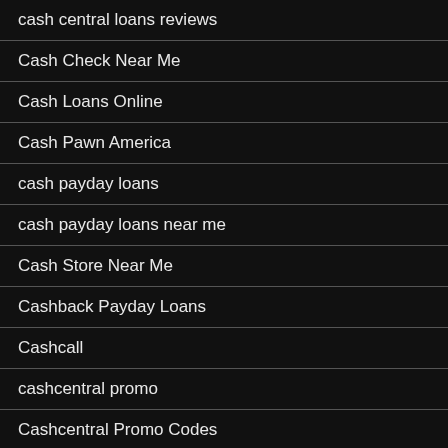cash central loans reviews
Cash Check Near Me
Cash Loans Online
Cash Pawn America
cash payday loans
cash payday loans near me
Cash Store Near Me
Cashback Payday Loans
Cashcall
cashcentral promo
Cashcentral Promo Codes
cashland financial
Cashland Loans